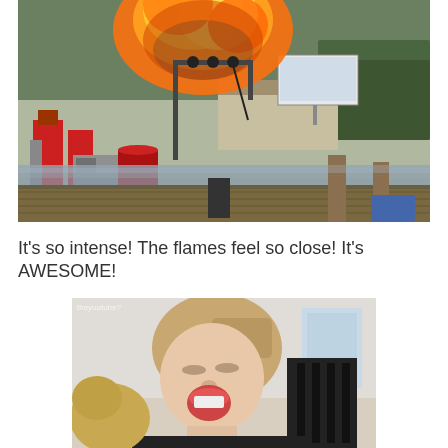[Figure (photo): An outdoor scene at a waterfront dock showing a large fireball explosion rising above industrial equipment including red tanks and metal structures. A billboard is visible in the background along with trees and a building.]
It's so intense! The flames feel so close! It's AWESOME!
[Figure (photo): A young girl with blonde hair pulled back, laughing or reacting with excitement with eyes partially closed. She is wearing a dark shirt and is seated near a dark chair. A dog is partially visible to her left.]